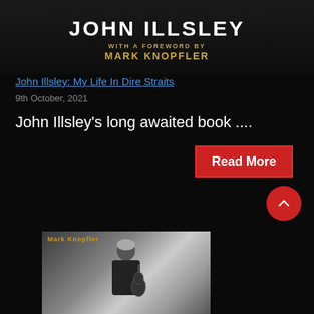JOHN ILLSLEY
WITH A FOREWORD BY
MARK KNOPFLER
John Illsley: My Life In Dire Straits
9th October, 2021
John Illsley's long awaited book ....
Read More
[Figure (photo): Black and white photo of Mark Knopfler holding a guitar, with 'Mark Knopfler' text overlay in orange/gold]